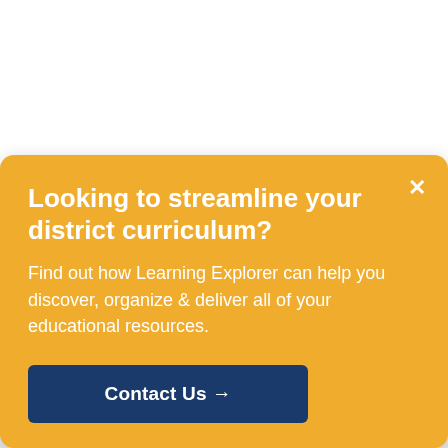Looking to streamline your district curriculum?
Find out how Learning Explorer can help you discover, organize & deliver all of your educational resources.
Contact Us →